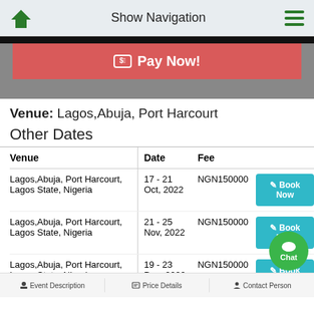Show Navigation
[Figure (screenshot): Red Pay Now! button on grey background]
Venue: Lagos,Abuja, Port Harcourt
Other Dates
| Venue | Date | Fee |  |
| --- | --- | --- | --- |
| Lagos,Abuja, Port Harcourt, Lagos State, Nigeria | 17 - 21 Oct, 2022 | NGN150000 | Book Now |
| Lagos,Abuja, Port Harcourt, Lagos State, Nigeria | 21 - 25 Nov, 2022 | NGN150000 | Book Now |
| Lagos,Abuja, Port Harcourt, Lagos State, Nigeria | 19 - 23 Dec, 2022 | NGN150000 | Book Now |
Event Description | Price Details | Contact Person